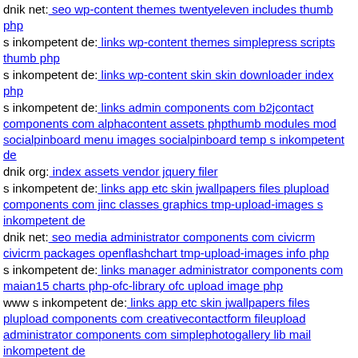dnik net: seo wp-content themes twentyeleven includes thumb php
s inkompetent de: links wp-content themes simplepress scripts thumb php
s inkompetent de: links wp-content skin skin downloader index php
s inkompetent de: links admin components com b2jcontact components com alphacontent assets phpthumb modules mod socialpinboard menu images socialpinboard temp s inkompetent de
dnik org: index assets vendor jquery filer
s inkompetent de: links app etc skin jwallpapers files plupload components com jinc classes graphics tmp-upload-images s inkompetent de
dnik net: seo media administrator components com civicrm civicrm packages openflashchart tmp-upload-images info php
s inkompetent de: links manager administrator components com maian15 charts php-ofc-library ofc upload image php
www s inkompetent de: links app etc skin jwallpapers files plupload components com creativecontactform fileupload administrator components com simplephotogallery lib mail inkompetent de
dnik net: seo media system jso
dnik net: seo media components com b2jcontact media sites default files insom php
s inkompetent de: links components com creativecontactform
dnik net: seo media system js wp-admin includes plugins content